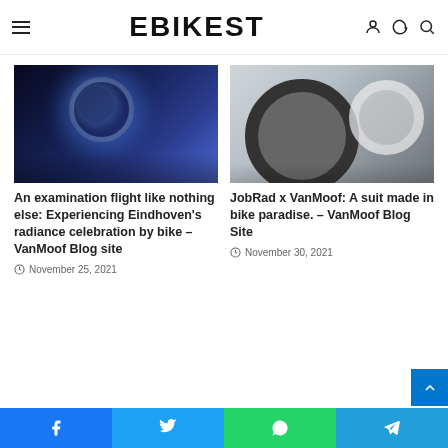EBIKEST
[Figure (photo): Close-up of a VanMoof electric bike wheel/hub glowing with blue light in a dark setting]
An examination flight like nothing else: Experiencing Eindhoven’s radiance celebration by bike – VanMoof Blog site
November 25, 2021
[Figure (photo): Close-up of a white VanMoof bike tire and wheel on pavement]
JobRad x VanMoof: A suit made in bike paradise. – VanMoof Blog Site
November 30, 2021
Facebook | Twitter | WhatsApp | Telegram